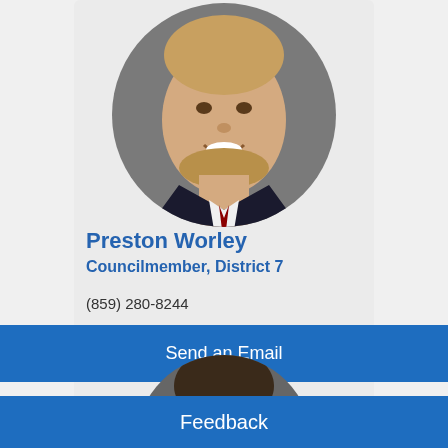[Figure (photo): Circular headshot of Preston Worley, a man with short blond hair and a beard, smiling, wearing a dark suit and tie]
Preston Worley
Councilmember, District 7
(859) 280-8244
Send an Email
[Figure (photo): Partial circular headshot of a man with dark hair, shown from top of head to chin]
Feedback